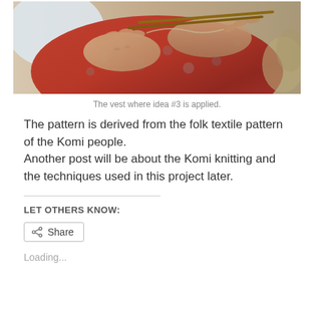[Figure (photo): Close-up photo of hands knitting/weaving, wearing a red and grey floral patterned garment, holding wooden needles or sticks.]
The vest where idea #3 is applied.
The pattern is derived from the folk textile pattern of the Komi people.
Another post will be about the Komi knitting and the techniques used in this project later.
LET OTHERS KNOW:
Share
Loading...